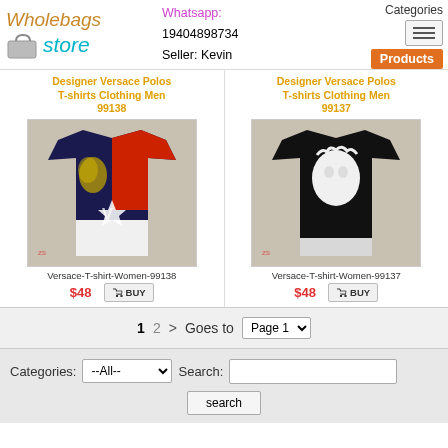[Figure (logo): Wholebags Store logo with bag icon]
Whatsapp: 19404898734 Seller: Kevin
Categories | Products
Designer Versace Polos T-shirts Clothing Men 99138
[Figure (photo): Versace T-shirt with colorblock design – black/red/white with gold emblem]
Versace-T-shirt-Women-99138
$48
BUY
Designer Versace Polos T-shirts Clothing Men 99137
[Figure (photo): Black Versace T-shirt with white Medusa head print]
Versace-T-shirt-Women-99137
$48
BUY
1  2  >  Goes to  Page 1
Categories: --All-- Search: